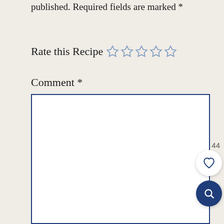Your email address will not be published. Required fields are marked *
Rate this Recipe ☆☆☆☆☆
Comment *
[Figure (screenshot): Empty comment text area input box with dark blue border]
44
[Figure (other): Heart/favorite button (white circle)]
[Figure (other): Search button (dark blue circle with magnifying glass icon)]